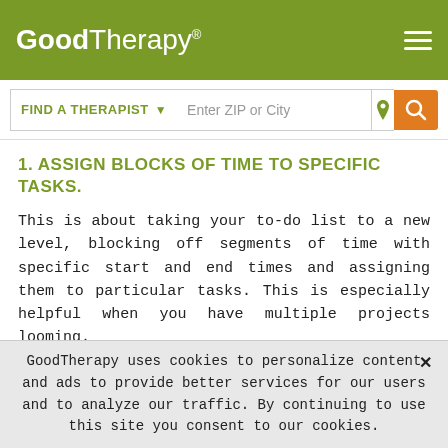GoodTherapy®
1. ASSIGN BLOCKS OF TIME TO SPECIFIC TASKS.
This is about taking your to-do list to a new level, blocking off segments of time with specific start and end times and assigning them to particular tasks. This is especially helpful when you have multiple projects looming.
For example, I recall speaking with a college student who had several exams and papers due in close proximity at the end of her semester. We mapped out on paper (yes, I still use paper) the two weeks to follow with specific blocks of time
GoodTherapy uses cookies to personalize content and ads to provide better services for our users and to analyze our traffic. By continuing to use this site you consent to our cookies.